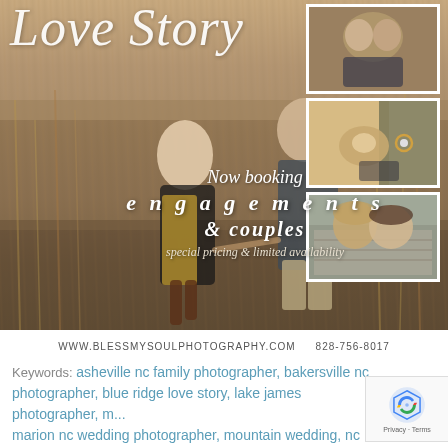[Figure (photo): Photography advertisement collage: main large photo of couple walking through autumn field (woman in black top with yellow vest, man in plaid shirt), three smaller photos on right side showing couple close-ups. Script title 'Love Story' overlaid in white, with booking text overlay.]
Love Story
Now booking engagements & couples special pricing & limited availability
WWW.BLESSMYSOULPHOTOGRAPHY.COM    828-756-8017
Keywords: asheville nc family photographer, bakersville nc photographer, blue ridge love story, lake james photographer, m... marion nc wedding photographer, mountain wedding, nc destination